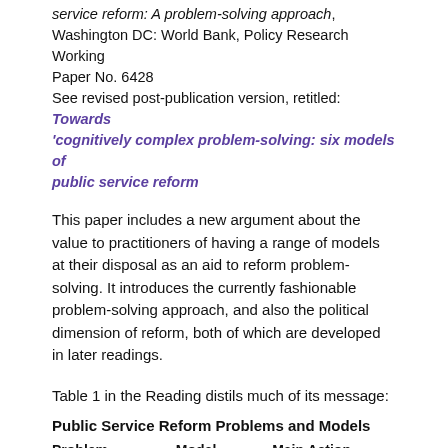service reform: A problem-solving approach, Washington DC: World Bank, Policy Research Working Paper No. 6428
See revised post-publication version, retitled: Towards 'cognitively complex problem-solving: six models of public service reform
This paper includes a new argument about the value to practitioners of having a range of models at their disposal as an aid to reform problem-solving. It introduces the currently fashionable problem-solving approach, and also the political dimension of reform, both of which are developed in later readings.
Table 1 in the Reading distils much of its message:
Public Service Reform Problems and Models
| Problem | Model | Main Action Period |
| --- | --- | --- |
| How can we put |  | Post- |